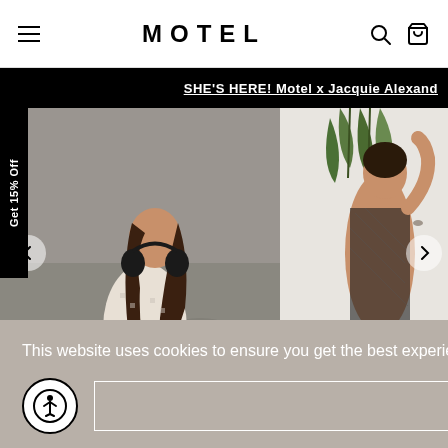MOTEL
SHE'S HERE! Motel x Jacquie Alexand
[Figure (photo): Two fashion model photos side by side: left photo shows a woman in a white patterned short-sleeve outfit sitting on a street with eyes closed; right photo shows a woman in a black mesh/crochet outfit against a white wall with plants.]
Get 15% Off
This website uses cookies to ensure you get the best experience on our website. Learn more
Got it!